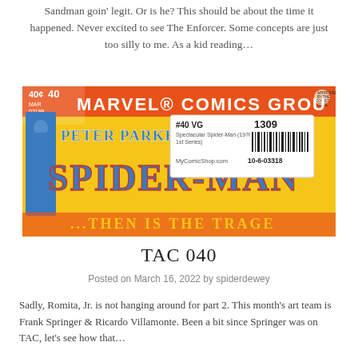Sandman goin' legit. Or is he? This should be about the time it happened. Never excited to see The Enforcer. Some concepts are just too silly to me. As a kid reading…
[Figure (photo): Cover of Peter Parker The Spectacular Spider-Man issue #40, Marvel Comics Group, 40 cents, March 1979, with a MyComicShop.com barcode sticker showing #40 VG, Spectacular Spider-Man (1976 1st Series), 1309, 10-6-03318]
TAC 040
Posted on March 16, 2022 by spiderdewey
Sadly, Romita, Jr. is not hanging around for part 2. This month's art team is Frank Springer & Ricardo Villamonte. Been a bit since Springer was on TAC, let's see how that…